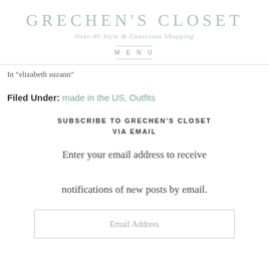GRECHEN'S CLOSET
Over-40 Style & Conscious Shopping
MENU
In "elizabeth suzann"
Filed Under: made in the US, Outfits
SUBSCRIBE TO GRECHEN'S CLOSET VIA EMAIL
Enter your email address to receive notifications of new posts by email.
Email Address